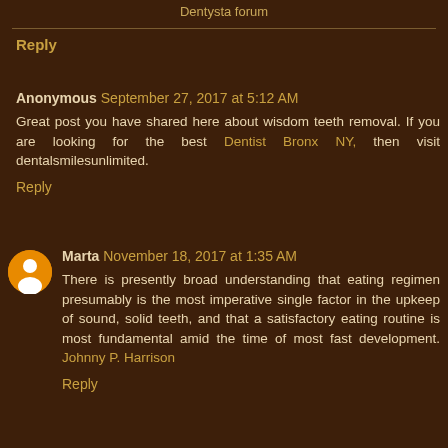Dentysta forum
Reply
Anonymous September 27, 2017 at 5:12 AM
Great post you have shared here about wisdom teeth removal. If you are looking for the best Dentist Bronx NY, then visit dentalsmilesunlimited.
Reply
Marta November 18, 2017 at 1:35 AM
There is presently broad understanding that eating regimen presumably is the most imperative single factor in the upkeep of sound, solid teeth, and that a satisfactory eating routine is most fundamental amid the time of most fast development. Johnny P. Harrison
Reply